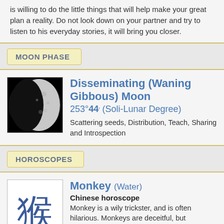is willing to do the little things that will help make your great plan a reality. Do not look down on your partner and try to listen to his everyday stories, it will bring you closer.
MOON PHASE
[Figure (photo): Waning gibbous moon phase image, dark crescent visible on left side]
Disseminating (Waning Gibbous) Moon
253°44' (Soli-Lunar Degree)
Scattering seeds, Distribution, Teach, Sharing and Introspection
HOROSCOPES
[Figure (illustration): Chinese character for Monkey in blue ink on white background]
Monkey (Water)
Chinese horoscope
Monkey is a wily trickster, and is often hilarious. Monkeys are deceitful, but companionable and give the impression that they can get along with all the other animals. It is, however, only one of their tactics, since behind their appearance they hide only their own financial goals. -»